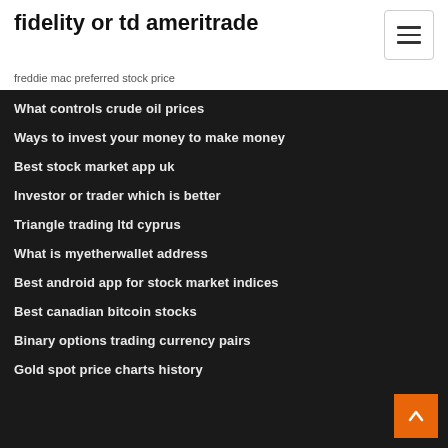fidelity or td ameritrade
freddie mac preferred stock price
What controls crude oil prices
Ways to invest your money to make money
Best stock market app uk
Investor or trader which is better
Triangle trading ltd cyprus
What is myetherwallet address
Best android app for stock market indices
Best canadian bitcoin stocks
Binary options trading currency pairs
Gold spot price charts history